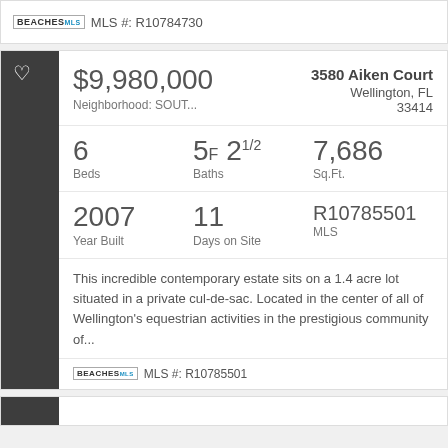MLS #: R10784730
$9,980,000
Neighborhood: SOUT...
3580 Aiken Court
Wellington, FL
33414
6 Beds | 5F 21/2 Baths | 7,686 Sq.Ft.
2007 Year Built | 11 Days on Site | R10785501 MLS
This incredible contemporary estate sits on a 1.4 acre lot situated in a private cul-de-sac. Located in the center of all of Wellington's equestrian activities in the prestigious community of...
MLS #: R10785501